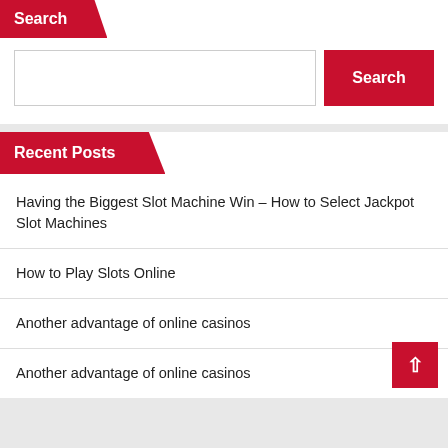Search
[Figure (other): Search input box and Search button]
Recent Posts
Having the Biggest Slot Machine Win – How to Select Jackpot Slot Machines
How to Play Slots Online
Another advantage of online casinos
Another advantage of online casinos